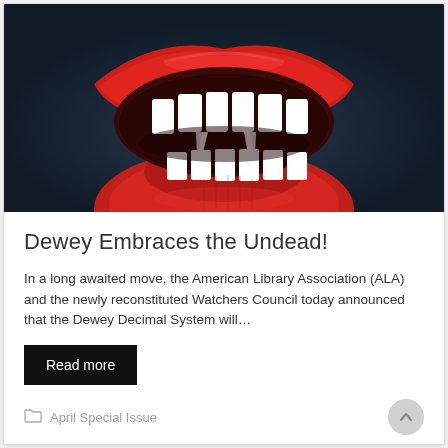[Figure (illustration): A dramatic illustration of an open vampire mouth with red lips, white teeth, and prominent fangs against a dark background.]
Dewey Embraces the Undead!
In a long awaited move, the American Library Association (ALA) and the newly reconstituted Watchers Council today announced that the Dewey Decimal System will…
Read more
April Special Issue